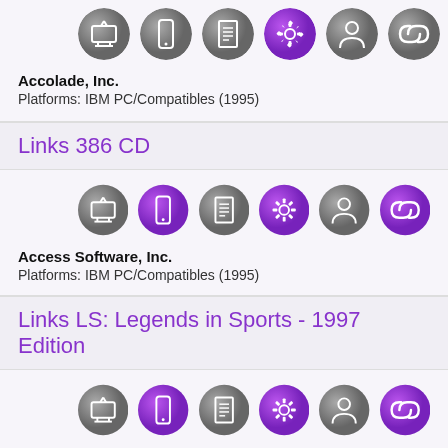[Figure (infographic): Row of 6 circular icons (TV/media, phone, document, gear/settings highlighted purple, person, chain link) for a game entry]
Accolade, Inc.
Platforms: IBM PC/Compatibles (1995)
Links 386 CD
[Figure (infographic): Row of 6 circular icons (TV/media gray, phone purple, document gray, gear purple, person gray, chain link purple) for Links 386 CD]
Access Software, Inc.
Platforms: IBM PC/Compatibles (1995)
Links LS: Legends in Sports - 1997 Edition
[Figure (infographic): Row of 6 circular icons (TV/media gray, phone purple, document gray, gear purple, person gray, chain link purple) for Links LS]
Access Software, Inc.